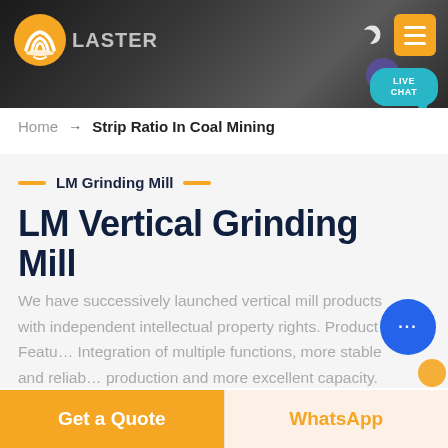[Figure (screenshot): Website header banner with dark background showing mining/quarry machinery, company logo (orange hard hat icon with LASTER text), navigation icons (moon/dark mode and orange hamburger menu), and teal LIVE CHAT bubble]
Home → Strip Ratio In Coal Mining
LM Grinding Mill
LM Vertical Grinding Mill
We have successively launched vertical mill products with independent intellectual property rights. Product Features: Integration of multiple functions, more stable and reliable production and more excellent capacity.